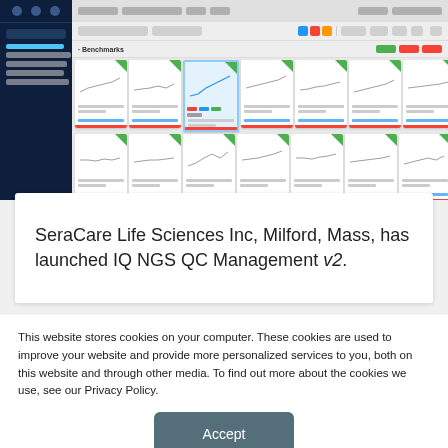[Figure (screenshot): Screenshot of IQ NGS QC Management v2 software dashboard showing a grid of QC metric cards with line charts, a dark sidebar with navigation items, and a top filter/control bar.]
SeraCare Life Sciences Inc, Milford, Mass, has launched IQ NGS QC Management v2.
This website stores cookies on your computer. These cookies are used to improve your website and provide more personalized services to you, both on this website and through other media. To find out more about the cookies we use, see our Privacy Policy.
Accept